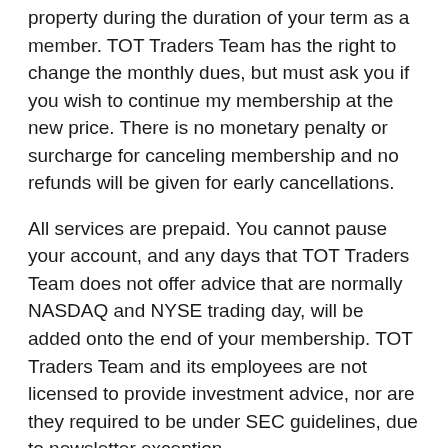property during the duration of your term as a member. TOT Traders Team has the right to change the monthly dues, but must ask you if you wish to continue my membership at the new price. There is no monetary penalty or surcharge for canceling membership and no refunds will be given for early cancellations.
All services are prepaid. You cannot pause your account, and any days that TOT Traders Team does not offer advice that are normally NASDAQ and NYSE trading day, will be added onto the end of your membership. TOT Traders Team and its employees are not licensed to provide investment advice, nor are they required to be under SEC guidelines, due to newsletter exception.
The suggestions given to you from TOT Traders Team should not be taken as investment advice directly, indirectly,